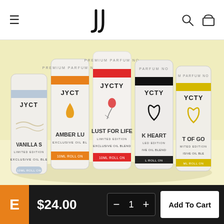Navigation bar with hamburger menu, JYCTY logo, search and cart icons
[Figure (photo): JYCTY premium parfum roll-on oil blend bottles: Vanilla Sky, Amber Lust, Lust For Life (Limited Edition), Black Heart (Limited Edition), Heart of Gold (Limited Edition) — 10ml roll-on exclusive oil blends, displayed on a pale yellow background]
$24.00
− 1 +
Add To Cart